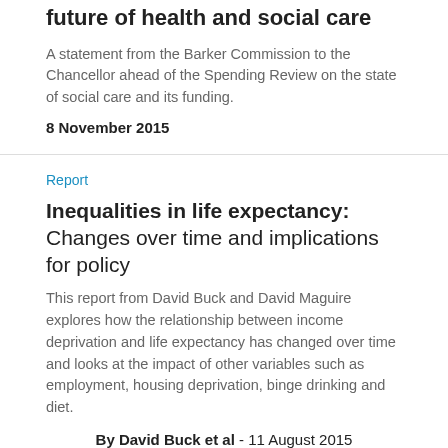Statement from the Barker Commission: The future of health and social care
A statement from the Barker Commission to the Chancellor ahead of the Spending Review on the state of social care and its funding.
8 November 2015
Report
Inequalities in life expectancy: Changes over time and implications for policy
This report from David Buck and David Maguire explores how the relationship between income deprivation and life expectancy has changed over time and looks at the impact of other variables such as employment, housing deprivation, binge drinking and diet.
By David Buck et al - 11 August 2015